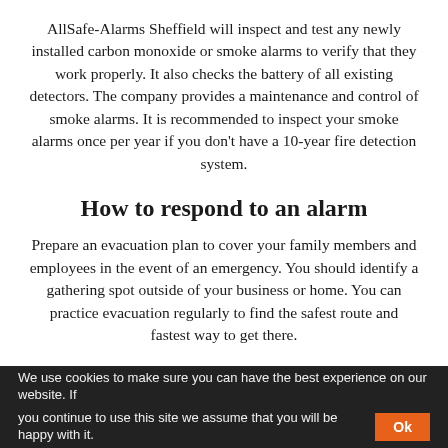AllSafe-Alarms Sheffield will inspect and test any newly installed carbon monoxide or smoke alarms to verify that they work properly. It also checks the battery of all existing detectors. The company provides a maintenance and control of smoke alarms. It is recommended to inspect your smoke alarms once per year if you don't have a 10-year fire detection system.
How to respond to an alarm
Prepare an evacuation plan to cover your family members and employees in the event of an emergency. You should identify a gathering spot outside of your business or home. You can practice evacuation regularly to find the safest route and fastest way to get there.
We use cookies to make sure you can have the best experience on our website. If you continue to use this site we assume that you will be happy with it. Ok